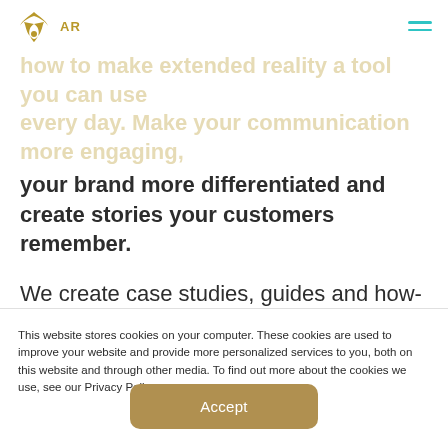AR
how to make extended reality a tool you can use every day. Make your communication more engaging,
your brand more differentiated and create stories your customers remember.

We create case studies, guides and how-tos so you can make the most of extended reality. Subscribe to get the latest content straight to your inbox freshly once a week.
This website stores cookies on your computer. These cookies are used to improve your website and provide more personalized services to you, both on this website and through other media. To find out more about the cookies we use, see our Privacy Policy.
Accept